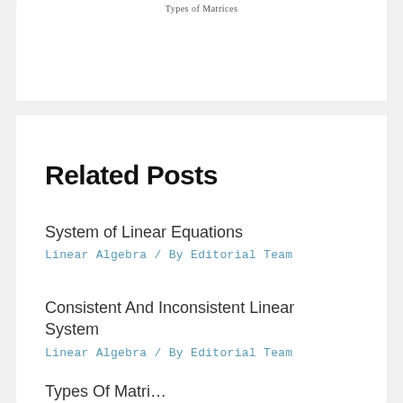Types of Matrices
Related Posts
System of Linear Equations
Linear Algebra / By Editorial Team
Consistent And Inconsistent Linear System
Linear Algebra / By Editorial Team
Types Of Matri...